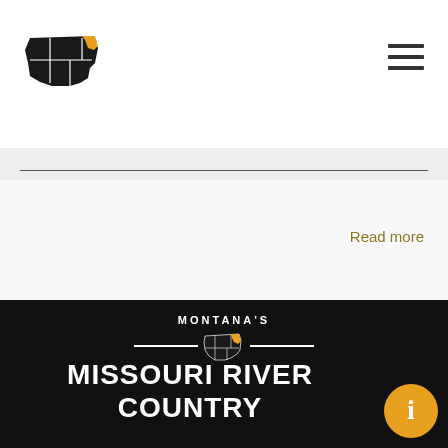[Figure (logo): Montana's Missouri River Country logo - black and orange counties map of Montana in header]
4 months ago
Read more
[Figure (logo): Montana's Missouri River Country full logo in footer - white text with map icon and horizontal lines on black background]
MISSOURI RIVER COUNTRY